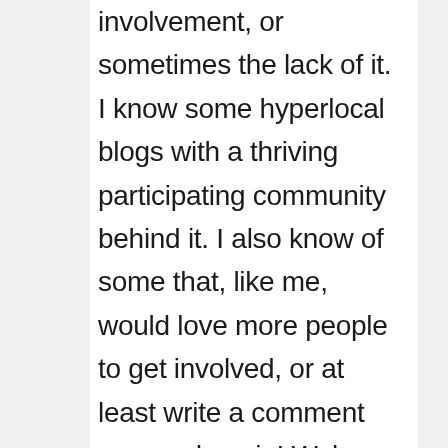I've learnt about community involvement, or sometimes the lack of it. I know some hyperlocal blogs with a thriving participating community behind it. I also know of some that, like me, would love more people to get involved, or at least write a comment now and again! Wake Green Park is a small area compared to other hyperlocal blogs (some say it's micro local!), and with 300 residents, many of whom are not online, and I do struggle with getting involvement from other residents. It would be great if someone actually takes up the offer of writing a blog post. There isn't much 'breaking news' on the